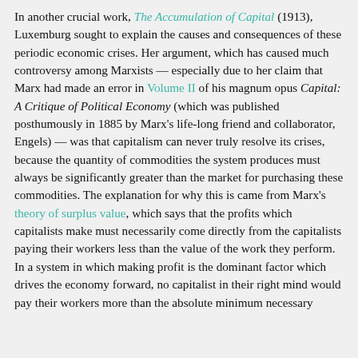In another crucial work, The Accumulation of Capital (1913), Luxemburg sought to explain the causes and consequences of these periodic economic crises. Her argument, which has caused much controversy among Marxists — especially due to her claim that Marx had made an error in Volume II of his magnum opus Capital: A Critique of Political Economy (which was published posthumously in 1885 by Marx's life-long friend and collaborator, Engels) — was that capitalism can never truly resolve its crises, because the quantity of commodities the system produces must always be significantly greater than the market for purchasing these commodities. The explanation for why this is came from Marx's theory of surplus value, which says that the profits which capitalists make must necessarily come directly from the capitalists paying their workers less than the value of the work they perform. In a system in which making profit is the dominant factor which drives the economy forward, no capitalist in their right mind would pay their workers more than the absolute minimum necessary